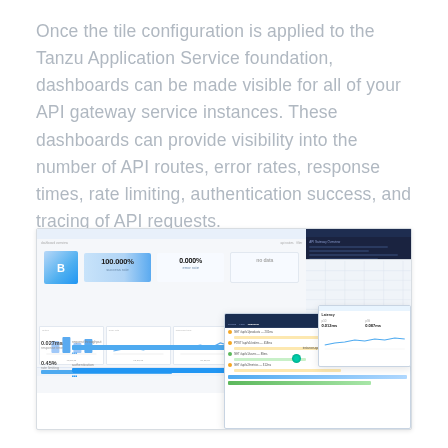Once the tile configuration is applied to the Tanzu Application Service foundation, dashboards can be made visible for all of your API gateway service instances. These dashboards can provide visibility into the number of API routes, error rates, response times, rate limiting, authentication success, and tracing of API requests.
[Figure (screenshot): Screenshot of Tanzu Application Service API gateway dashboards showing metrics including 100.000% success rate, 0.000% error rate, 0.027ms response time, 0.45% rate limiting, bar charts, mini line charts, and an overlay panel with request tracing and latency scatter plot.]